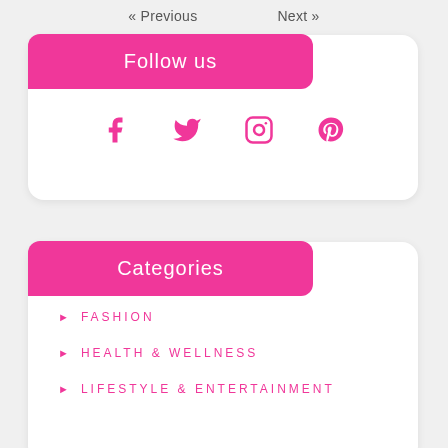« Previous   Next »
Follow us
[Figure (infographic): Social media icons: Facebook, Twitter, Instagram, Pinterest in pink]
Categories
FASHION
HEALTH & WELLNESS
LIFESTYLE & ENTERTAINMENT